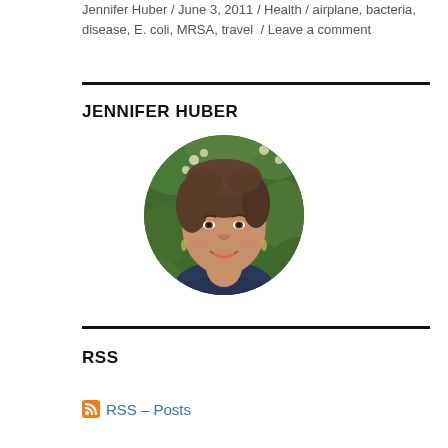Jennifer Huber / June 3, 2011 / Health / airplane, bacteria, disease, E. coli, MRSA, travel / Leave a comment
JENNIFER HUBER
[Figure (photo): Circular profile photo of Jennifer Huber, a woman with short brown hair smiling, with green foliage in the background.]
RSS
RSS – Posts